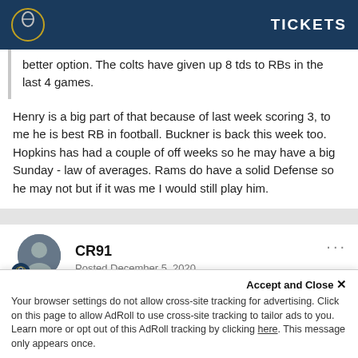TICKETS
better option. The colts have given up 8 tds to RBs in the last 4 games.
Henry is a big part of that because of last week scoring 3, to me he is best RB in football. Buckner is back this week too. Hopkins has had a couple of off weeks so he may have a big Sunday - law of averages. Rams do have a solid Defense so he may not but if it was me I would still play him.
CR91
Posted December 5, 2020
On 12/5/2020 at 7:28 AM, 2006Coltsbestever said:
Accept and Close ×
Your browser settings do not allow cross-site tracking for advertising. Click on this page to allow AdRoll to use cross-site tracking to tailor ads to you. Learn more or opt out of this AdRoll tracking by clicking here. This message only appears once.